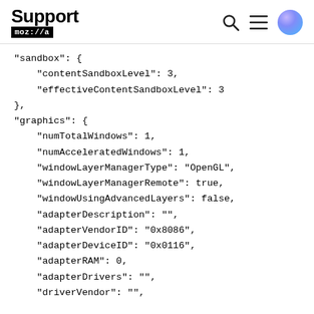Support mozilla // a
"sandbox": {
    "contentSandboxLevel": 3,
    "effectiveContentSandboxLevel": 3
},
"graphics": {
    "numTotalWindows": 1,
    "numAcceleratedWindows": 1,
    "windowLayerManagerType": "OpenGL",
    "windowLayerManagerRemote": true,
    "windowUsingAdvancedLayers": false,
    "adapterDescription": "",
    "adapterVendorID": "0x8086",
    "adapterDeviceID": "0x0116",
    "adapterRAM": 0,
    "adapterDrivers": "",
    "driverVendor": "",